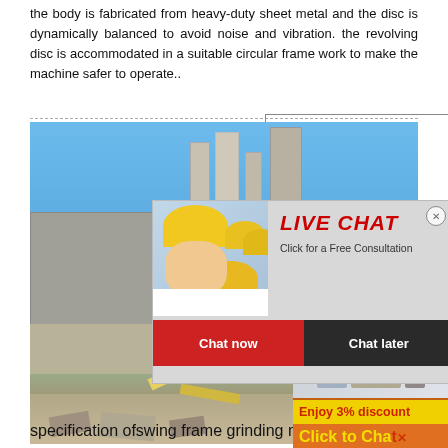the body is fabricated from heavy-duty sheet metal and the disc is dynamically balanced to avoid noise and vibration. the revolving disc is accommodated in a suitable circular frame work to make the machine safer to operate..
[Figure (photo): Industrial facility with silos and processing equipment under blue sky]
[Figure (photo): Live chat popup overlay with person in hard hat, red LIVE CHAT title, 'Click for a Free Consultation' text, Chat now and Chat later buttons]
[Figure (photo): Orange sidebar with industrial machinery images, Enjoy 3% discount banner, Click to Chat button, and Enquiry text]
[Figure (photo): Excavator and demolition/mining scene with rubble]
specification ofswing frame grinding m